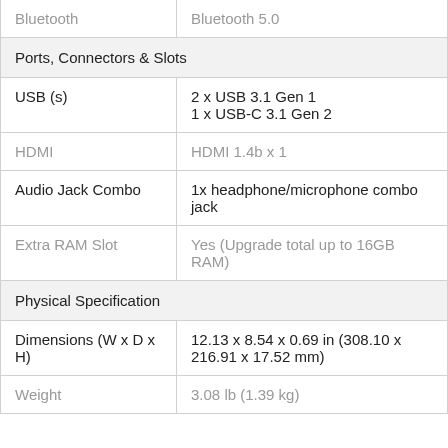| Bluetooth | Bluetooth 5.0 |
| Ports, Connectors & Slots |  |
| USB (s) | 2 x USB 3.1 Gen 1
1 x USB-C 3.1 Gen 2 |
| HDMI | HDMI 1.4b x 1 |
| Audio Jack Combo | 1x headphone/microphone combo jack |
| Extra RAM Slot | Yes (Upgrade total up to 16GB RAM) |
| Physical Specification |  |
| Dimensions (W x D x H) | 12.13 x 8.54 x 0.69 in (308.10 x 216.91 x 17.52 mm) |
| Weight | 3.08 lb (1.39 kg) |